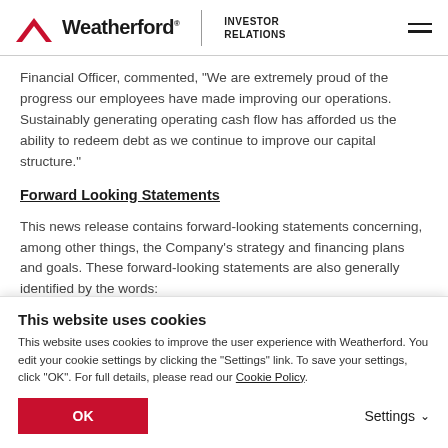Weatherford | Investor Relations
Financial Officer, commented, "We are extremely proud of the progress our employees have made improving our operations. Sustainably generating operating cash flow has afforded us the ability to redeem debt as we continue to improve our capital structure."
Forward Looking Statements
This news release contains forward-looking statements concerning, among other things, the Company's strategy and financing plans and goals. These forward-looking statements are also generally identified by the words:
This website uses cookies
This website uses cookies to improve the user experience with Weatherford. You edit your cookie settings by clicking the "Settings" link. To save your settings, click "OK". For full details, please read our Cookie Policy.
OK
Settings